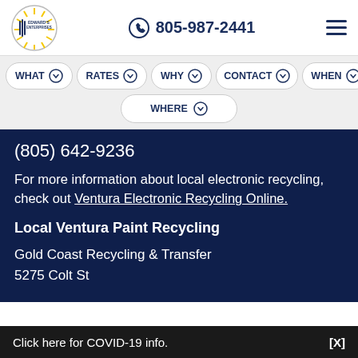[Figure (logo): Edward's Enterprises logo — circular with sunburst and text 'EDWARD'S ENTERPRISES']
805-987-2441
WHAT
RATES
WHY
CONTACT
WHEN
WHERE
(805) 642-9236
For more information about local electronic recycling, check out Ventura Electronic Recycling Online.
Local Ventura Paint Recycling
Gold Coast Recycling & Transfer
5275 Colt St
Click here for COVID-19 info.  [X]